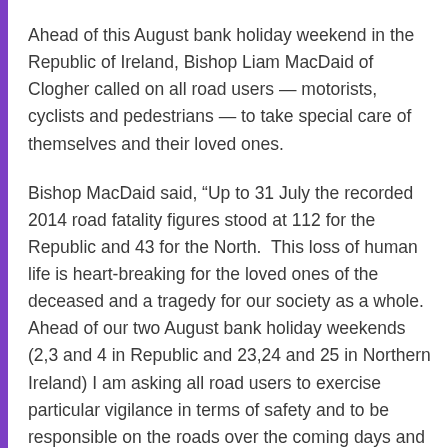Ahead of this August bank holiday weekend in the Republic of Ireland, Bishop Liam MacDaid of Clogher called on all road users — motorists, cyclists and pedestrians — to take special care of themselves and their loved ones.
Bishop MacDaid said, “Up to 31 July the recorded 2014 road fatality figures stood at 112 for the Republic and 43 for the North.  This loss of human life is heart-breaking for the loved ones of the deceased and a tragedy for our society as a whole. Ahead of our two August bank holiday weekends (2,3 and 4 in Republic and 23,24 and 25 in Northern Ireland) I am asking all road users to exercise particular vigilance in terms of safety and to be responsible on the roads over the coming days and